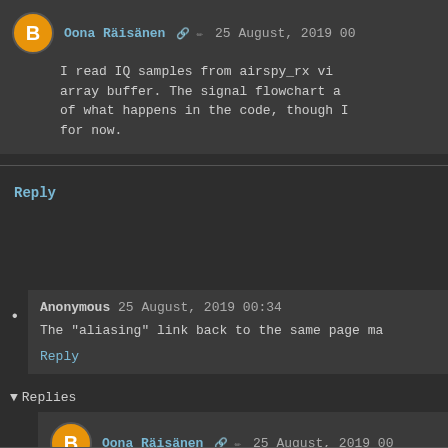Oona Räisänen 25 August, 2019 00: I read IQ samples from airspy_rx vi array buffer. The signal flowchart a of what happens in the code, though I for now.
Reply
Anonymous 25 August, 2019 00:34 The "aliasing" link back to the same page ma Reply
▼ Replies
Oona Räisänen 25 August, 2019 00 Lol, that's funny. I meant to link to